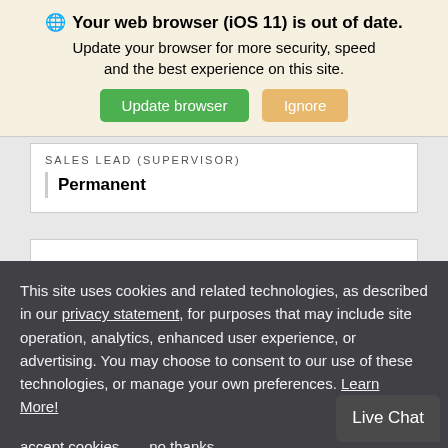[Figure (screenshot): Browser update notification banner with globe icon, bold title 'Your web browser (iOS 11) is out of date.', subtitle text, green 'Update browser' button and orange 'Ignore' button.]
SALES LEAD (SUPERVISOR)
Permanent
This site uses cookies and related technologies, as described in our privacy statement, for purposes that may include site operation, analytics, enhanced user experience, or advertising. You may choose to consent to our use of these technologies, or manage your own preferences. Learn More!
accept cookies   no thanks